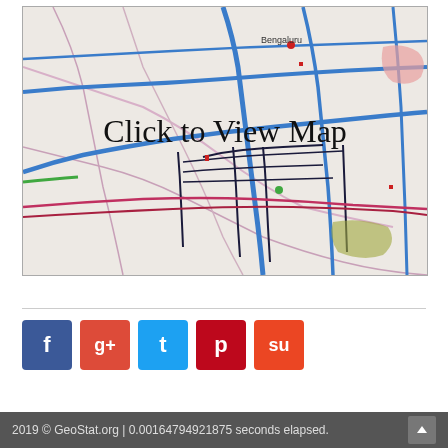[Figure (map): Street map of Bengaluru area with blue highways, pink/red roads, dark blue routes, green lines, and labeled city center. Overlay text reads 'Click to View Map'.]
[Figure (infographic): Social media share buttons: Facebook (blue), Google+ (red), Twitter (cyan), Pinterest (dark red), StumbleUpon (orange-red)]
2019 © GeoStat.org | 0.00164794921875 seconds elapsed.